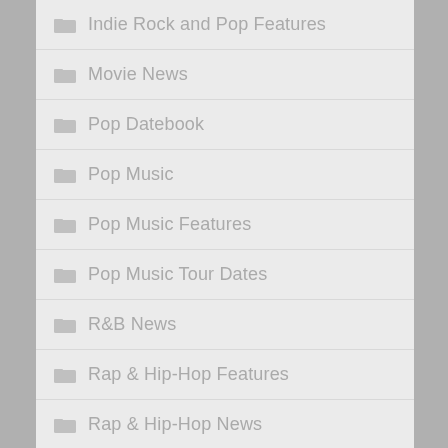Indie Rock and Pop Features
Movie News
Pop Datebook
Pop Music
Pop Music Features
Pop Music Tour Dates
R&B News
Rap & Hip-Hop Features
Rap & Hip-Hop News
Reggae News